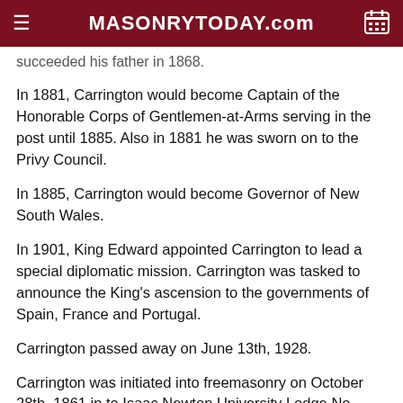MASONRYTODAY.com
succeeded his father in 1868.
In 1881, Carrington would become Captain of the Honorable Corps of Gentlemen-at-Arms serving in the post until 1885. Also in 1881 he was sworn on to the Privy Council.
In 1885, Carrington would become Governor of New South Wales.
In 1901, King Edward appointed Carrington to lead a special diplomatic mission. Carrington was tasked to announce the King's ascension to the governments of Spain, France and Portugal.
Carrington passed away on June 13th, 1928.
Carrington was initiated into freemasonry on October 28th, 1861 in to Isaac Newton University Lodge No. 859, he was 18. He was passed in Cairo 8 years later and raised in Royal York Lodge of Perseverance No. 7 on October 6th,